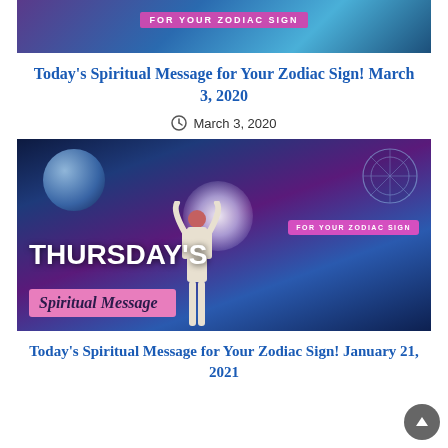[Figure (photo): Top banner image with text 'FOR YOUR ZODIAC SIGN' on a purple-blue mystical background]
Today's Spiritual Message for Your Zodiac Sign! March 3, 2020
March 3, 2020
[Figure (photo): Mystical image with a red-haired woman raising her arms toward light, cosmic background with planet and zodiac wheel, text 'THURSDAY'S Spiritual Message FOR YOUR ZODIAC SIGN']
Today's Spiritual Message for Your Zodiac Sign! January 21, 2021